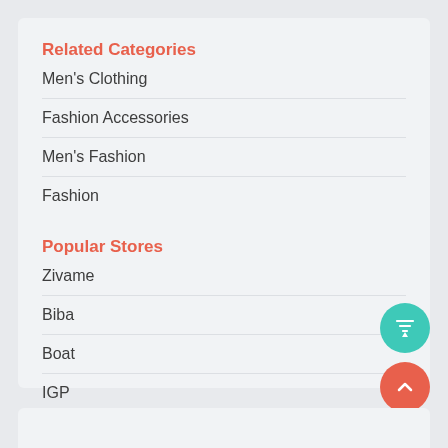Related Categories
Men's Clothing
Fashion Accessories
Men's Fashion
Fashion
Popular Stores
Zivame
Biba
Boat
IGP
Pepperfry